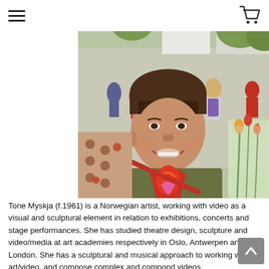Navigation bar with hamburger menu and cart icon
[Figure (photo): Portrait photo of Tone Myskja, a Norwegian artist, smiling outdoors at an event. She has short brown hair with bangs, wearing an olive green top with a bright red/orange and pink patterned design, and a red crossbody bag. She is holding flowers. Background shows a crowd of people outdoors on a sunny day.]
Tone Myskja (f.1961) is a Norwegian artist, working with video as a visual and sculptural element in relation to exhibitions, concerts and stage performances. She has studied theatre design, sculpture and video/media at art academies respectively in Oslo, Antwerpen and London. She has a sculptural and musical approach to working with art/video, and compose complex and compond videos